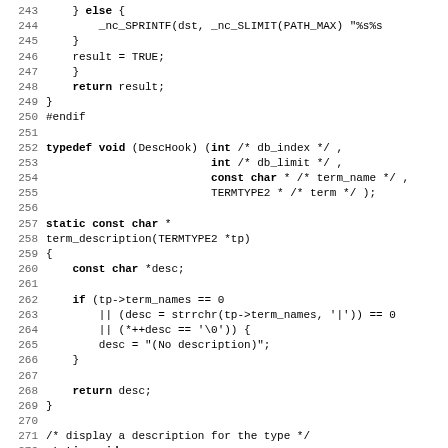Source code listing, lines 243-275, C programming language
243     } else {
244         _nc_SPRINTF(dst, _nc_SLIMIT(PATH_MAX) "%s%s
245     }
246     result = TRUE;
247  }
248     return result;
249 }
250 #endif
251
252 typedef void (DescHook) (int /* db_index */ ,
253                          int /* db_limit */ ,
254                          const char * /* term_name */ ,
255                          TERMTYPE2 * /* term */ );
256
257 static const char *
258 term_description(TERMTYPE2 *tp)
259 {
260     const char *desc;
261
262     if (tp->term_names == 0
263         || (desc = strrchr(tp->term_names, '|')) == 0
264         || (*++desc == '\0')) {
265         desc = "(No description)";
266     }
267
268     return desc;
269 }
270
271 /* display a description for the type */
272 static void
273 deschook(int db_index, int db_limit, const char *term_n
274 {
275     (void) db_index;